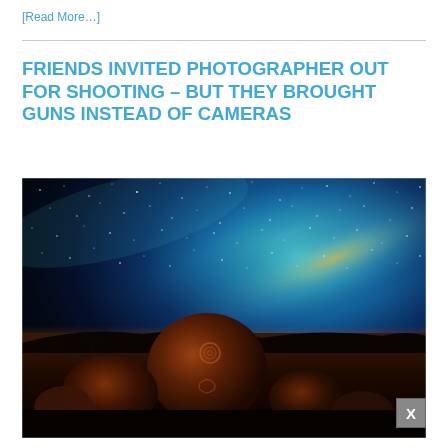[Read More…]
FRIENDS INVITED PHOTOGRAPHER OUT FOR SHOOTING – BUT THEY BROUGHT GUNS INSTEAD OF CAMERAS
[Figure (photo): Night sky photograph showing the Milky Way galaxy arc over ancient petroglyphs carved on large boulders in a desert landscape. The foreground features reddish-brown rocks illuminated by warm light, with a glowing horizon and star-filled sky above.]